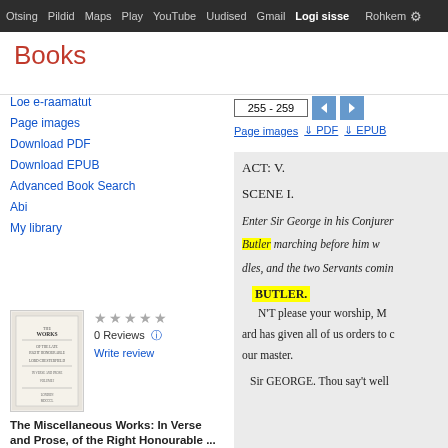Otsing Pildid Maps Play YouTube Uudised Gmail Logi sisse Rohkem
Books
Loe e-raamatut
Page images
Download PDF
Download EPUB
Advanced Book Search
Abi
My library
0 Reviews
Write review
The Miscellaneous Works: In Verse and Prose, of the Right Honourable ...
255 - 259
Page images  PDF  EPUB
ACT: V.

SCENE I.

Enter Sir George in his Conjurer Butler marching before him w... dles, and the two Servants comin...

BUTLER.
N'T please your worship, M...
...ard has given all of us orders to c... our master.

Sir GEORGE. Thou say't well